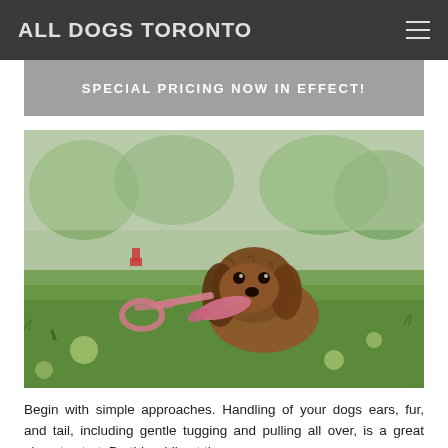ALL DOGS TORONTO
SPECIAL PRICING NOW IN EFFECT!
[Figure (photo): A Cavalier King Charles Spaniel puppy lying on grass, holding a pink rope toy in its mouth. The background shows blurred green trees and a red fire hydrant.]
Begin with simple approaches. Handling of your dogs ears, fur, and tail, including gentle tugging and pulling all over, is a great place to start. Do this while at the same